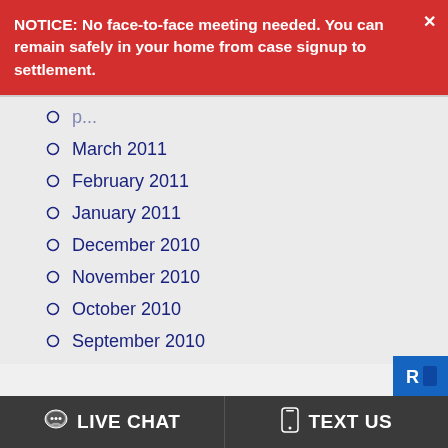NOTICE: No face-to-face meeting needed. You can remain safely in your home from case signup to settlement.
March 2011
February 2011
January 2011
December 2010
November 2010
October 2010
September 2010
August 2010
July 2010
June 2010
May 2010
LIVE CHAT   TEXT US